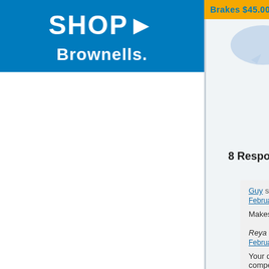[Figure (logo): Brownells shop logo - blue background with SHOP arrow and BROWNELLS text in white]
Brakes $45.00   Brakes $50.00
[Figure (illustration): Light blue speech bubble / comment icon]
8 Responses to “NRA Smallbore Cha…”
Guy says:
February 24, 2016 at 3:46 pm

Makes sense.
Reya says:
February 24, 2016 at 9:17 pm

Your description here misrepresents the situation… men and women always have competed directly… NRA competitions. The only thing that’s changing…

Editor: The above comment is from Reya Kem… correct that the main point of the change is to el… the non-gender-specific awards many times. This… and women, at least at the nationals, shoot in th… collegiate and international compatitions.